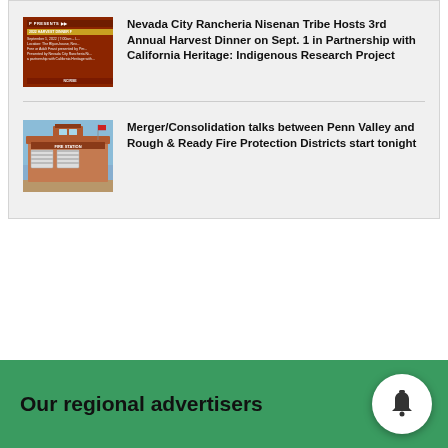[Figure (photo): Thumbnail image for harvest dinner article showing event poster with orange/red background]
Nevada City Rancheria Nisenan Tribe Hosts 3rd Annual Harvest Dinner on Sept. 1 in Partnership with California Heritage: Indigenous Research Project
[Figure (photo): Thumbnail image of a fire station building with blue sky background]
Merger/Consolidation talks between Penn Valley and Rough & Ready Fire Protection Districts start tonight
Our regional advertisers